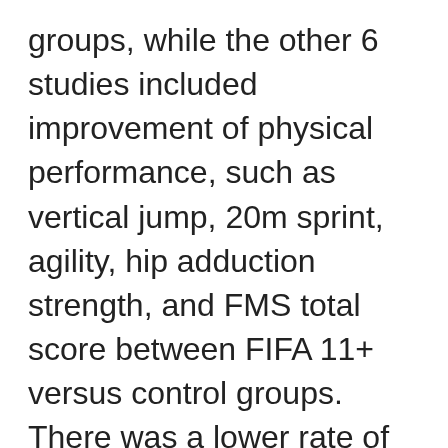groups, while the other 6 studies included improvement of physical performance, such as vertical jump, 20m sprint, agility, hip adduction strength, and FMS total score between FIFA 11+ versus control groups. There was a lower rate of injury in the intervention group from all 7 studies. Couple of studies had different criteria to compare with other